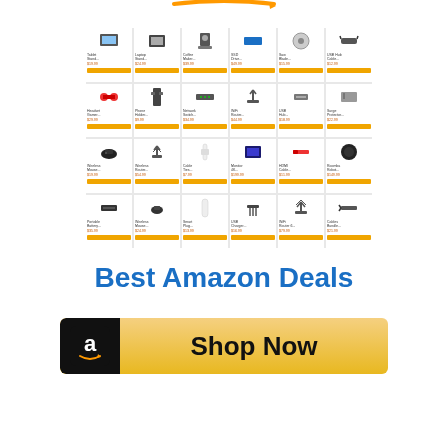[Figure (logo): Amazon logo arc/smile in orange at the top of the page]
[Figure (screenshot): Grid of Amazon product listings showing 4 rows x 6 columns of small product thumbnails with titles, prices, and yellow Add to Cart buttons]
Best Amazon Deals
[Figure (infographic): Shop Now button with Amazon 'a' logo icon on black background on the left and 'Shop Now' text on gold/yellow gradient background]